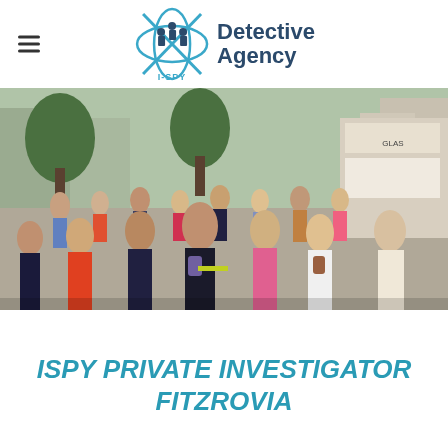[Figure (logo): I-SPY Detective Agency logo with blue compass/figure icon and text 'Detective Agency' alongside hamburger menu icon]
[Figure (photo): Busy pedestrian shopping street with a crowd of people walking, trees, and shops in background]
ISPY PRIVATE INVESTIGATOR FITZROVIA